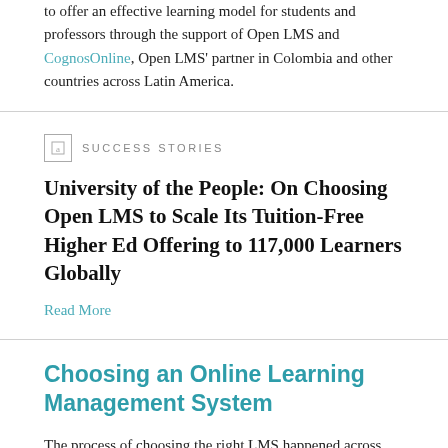to offer an effective learning model for students and professors through the support of Open LMS and CognosOnline, Open LMS' partner in Colombia and other countries across Latin America.
SUCCESS STORIES
University of the People: On Choosing Open LMS to Scale Its Tuition-Free Higher Ed Offering to 117,000 Learners Globally
Read More
Choosing an Online Learning Management System
The process of choosing the right LMS happened across multiple phrases, Liliana says.
Phase #1: Understanding and Addressing the